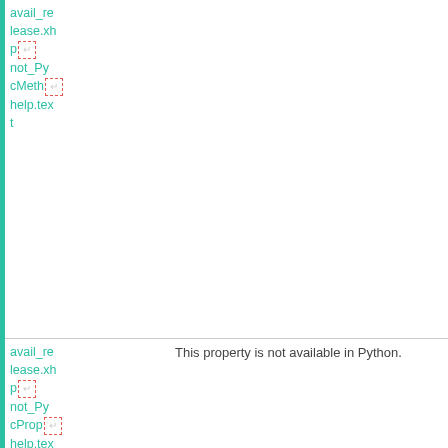| Left column (identifier) | Content |
| --- | --- |
| avail_re lease.xh p [icon] not_Py cMeth [icon] help.tex t |  |
| avail_re lease.xh p [icon] not_Py cProp [icon] help.tex t | This property is not available in Python. |
| avail_re lease.xh p [icon] par_id8 1163177 | This service is available from %PRODUCTNAME 7.3 onwards. |